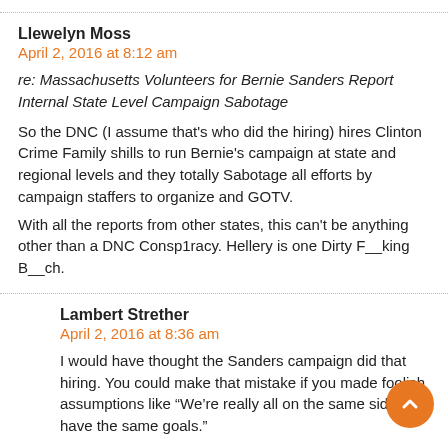Llewelyn Moss
April 2, 2016 at 8:12 am
re: Massachusetts Volunteers for Bernie Sanders Report Internal State Level Campaign Sabotage
So the DNC (I assume that's who did the hiring) hires Clinton Crime Family shills to run Bernie's campaign at state and regional levels and they totally Sabotage all efforts by campaign staffers to organize and GOTV.
With all the reports from other states, this can't be anything other than a DNC Consp1racy. Hellery is one Dirty F__king B__ch.
Lambert Strether
April 2, 2016 at 8:36 am
I would have thought the Sanders campaign did that hiring. You could make that mistake if you made foolish assumptions like “We’re really all on the same side and have the same goals.”